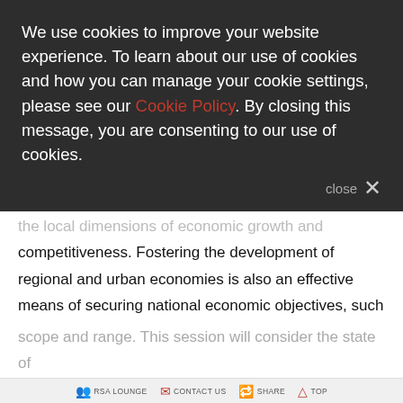We use cookies to improve your website experience. To learn about our use of cookies and how you can manage your cookie settings, please see our Cookie Policy. By closing this message, you are consenting to our use of cookies.
the local dimensions of economic growth and competitiveness. Fostering the development of regional and urban economies is also an effective means of securing national economic objectives, such as an improved rate of national growth, productivity advance and trade performance. To devise effective 'evidence-based' policies requires a 'fit-for-purpose' database. While national level data are relatively rich in range and detail, the economic data available for sub-national areas remain limited in scope and range. This session will consider the state of
RSA LOUNGE   CONTACT US   SHARE   TOP